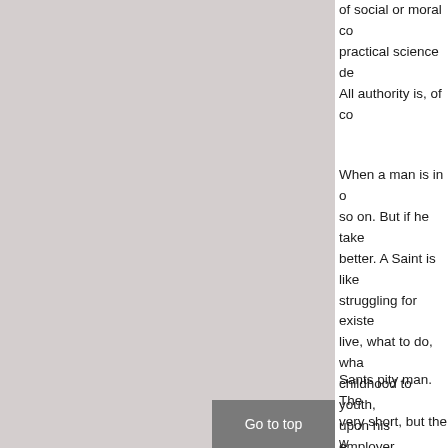of social or moral co practical science de All authority is, of co
When a man is in o so on. But if he take better. A Saint is like struggling for existe live, what to do, wha childhood to youth, upon his employer, dependent upon so comforted by anythi do is submit to natu the same time he m can stand still in a fl
Sants pity man. The very short, but the w overrated. Repeated number of breaths i
Go to top